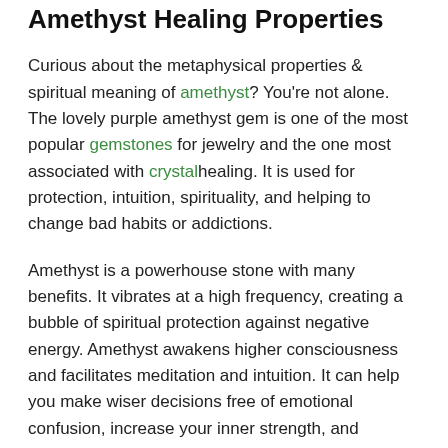Amethyst Healing Properties
Curious about the metaphysical properties & spiritual meaning of amethyst? You're not alone. The lovely purple amethyst gem is one of the most popular gemstones for jewelry and the one most associated with crystal healing. It is used for protection, intuition, spirituality, and helping to change bad habits or addictions.
Amethyst is a powerhouse stone with many benefits. It vibrates at a high frequency, creating a bubble of spiritual protection against negative energy. Amethyst awakens higher consciousness and facilitates meditation and intuition. It can help you make wiser decisions free of emotional confusion, increase your inner strength, and deepen your spiritual awareness.
Amethyst is a purification stone on many levels. First, it purifies the aura directly. Secondly, it supports you to make decisions that keep you clear-headed. For example...